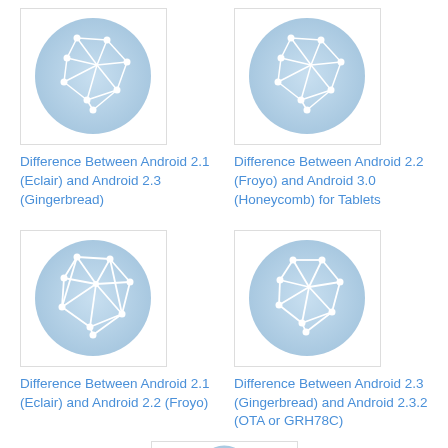[Figure (illustration): Network graph icon - blue circle with white connected nodes, top-left]
Difference Between Android 2.1 (Eclair) and Android 2.3 (Gingerbread)
[Figure (illustration): Network graph icon - blue circle with white connected nodes, top-right]
Difference Between Android 2.2 (Froyo) and Android 3.0 (Honeycomb) for Tablets
[Figure (illustration): Network graph icon - blue circle with white connected nodes, middle-left]
Difference Between Android 2.1 (Eclair) and Android 2.2 (Froyo)
[Figure (illustration): Network graph icon - blue circle with white connected nodes, middle-right]
Difference Between Android 2.3 (Gingerbread) and Android 2.3.2 (OTA or GRH78C)
[Figure (illustration): Network graph icon - blue circle with white connected nodes, bottom-center (partially visible)]